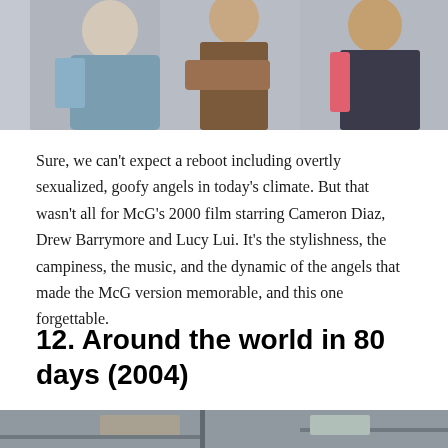[Figure (photo): Three women posing: one in a floral jacket on left, one in a brown sports bra in center with arms crossed, one in a pink and black outfit on right. Light grey background.]
Sure, we can't expect a reboot including overtly sexualized, goofy angels in today's climate. But that wasn't all for McG's 2000 film starring Cameron Diaz, Drew Barrymore and Lucy Lui. It's the stylishness, the campiness, the music, and the dynamic of the angels that made the McG version memorable, and this one forgettable.
12. Around the world in 80 days (2004)
[Figure (photo): Scene from a film showing figures in an indoor setting, one person in a plaid shirt visible from behind.]